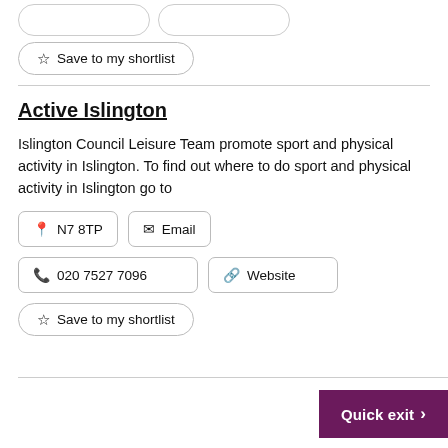Save to my shortlist
Active Islington
Islington Council Leisure Team promote sport and physical activity in Islington. To find out where to do sport and physical activity in Islington go to
N7 8TP
Email
020 7527 7096
Website
Save to my shortlist
Quick exit >